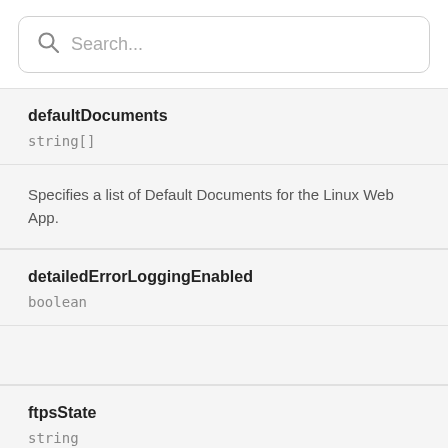Search...
defaultDocuments
string[]
Specifies a list of Default Documents for the Linux Web App.
detailedErrorLoggingEnabled
boolean
ftpsState
string